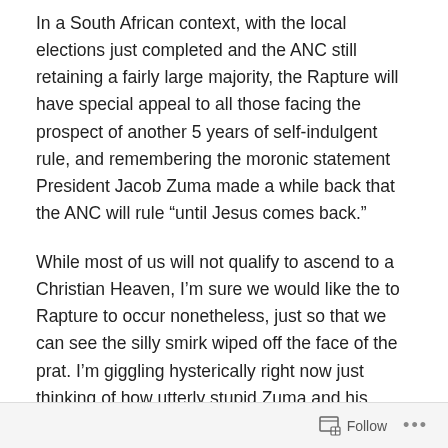In a South African context, with the local elections just completed and the ANC still retaining a fairly large majority, the Rapture will have special appeal to all those facing the prospect of another 5 years of self-indulgent rule, and remembering the moronic statement President Jacob Zuma made a while back that the ANC will rule “until Jesus comes back.”
While most of us will not qualify to ascend to a Christian Heaven, I’m sure we would like the to Rapture to occur nonetheless, just so that we can see the silly smirk wiped off the face of the prat. I’m giggling hysterically right now just thinking of how utterly stupid Zuma and his unquestioning followers will feel as Jesus reappears to
Follow ...